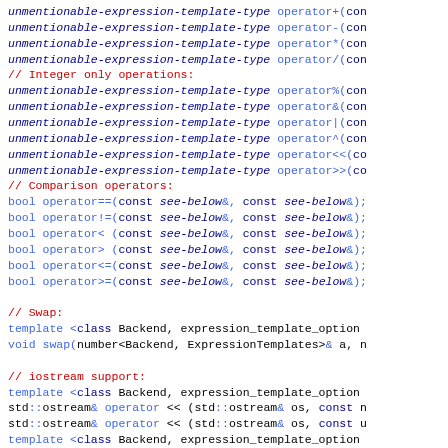Code listing showing C++ operator declarations for unmentionable-expression-template-type including arithmetic, integer-only, comparison operators, swap, iostream support, and arithmetic with higher precision result.